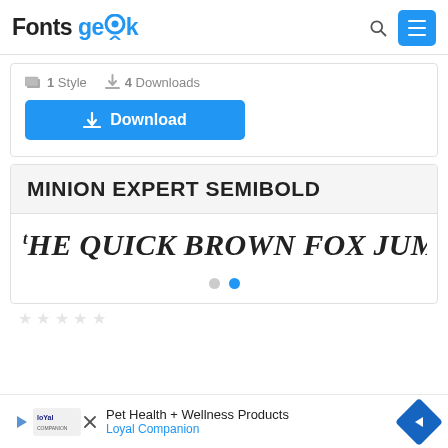Fonts Geek
1 Style  4 Downloads
Download
MINION EXPERT SEMIBOLD
tHE QUICK BROWN FOX JUMPS OVER THE LA...
[Figure (infographic): Pagination dots: two circles, first grey, second blue (active)]
Pet Health + Wellness Products — Loyal Companion